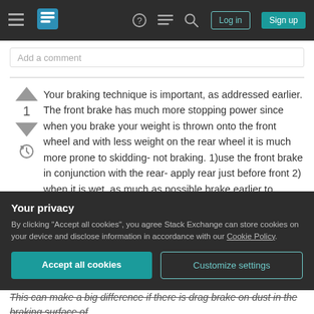Stack Exchange navigation bar with hamburger menu, logo, help, chat, search icons, Log in and Sign up buttons
Add a comment
Your braking technique is important, as addressed earlier. The front brake has much more stopping power since when you brake your weight is thrown onto the front wheel and with less weight on the rear wheel it is much more prone to skidding- not braking. 1)use the front brake in conjunction with the rear- apply rear just before front 2) when it is wet, as much as possible brake earlier to squegee water off
Your privacy
By clicking "Accept all cookies", you agree Stack Exchange can store cookies on your device and disclose information in accordance with our Cookie Policy.
Accept all cookies
Customize settings
This can make a big difference if there is drag brake on dust in the braking surface of